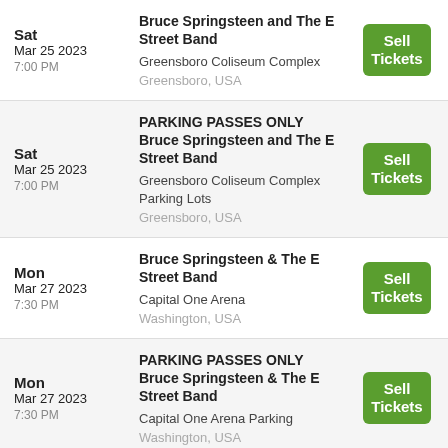| Date | Event | Action |
| --- | --- | --- |
| Sat
Mar 25 2023
7:00 PM | Bruce Springsteen and The E Street Band
Greensboro Coliseum Complex
Greensboro, USA | Sell Tickets |
| Sat
Mar 25 2023
7:00 PM | PARKING PASSES ONLY Bruce Springsteen and The E Street Band
Greensboro Coliseum Complex Parking Lots
Greensboro, USA | Sell Tickets |
| Mon
Mar 27 2023
7:30 PM | Bruce Springsteen & The E Street Band
Capital One Arena
Washington, USA | Sell Tickets |
| Mon
Mar 27 2023
7:30 PM | PARKING PASSES ONLY Bruce Springsteen & The E Street Band
Capital One Arena Parking
Washington, USA | Sell Tickets |